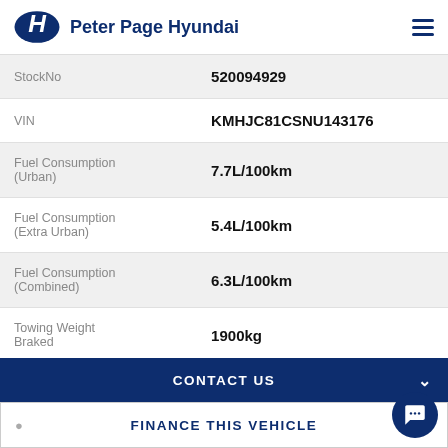Peter Page Hyundai
| Field | Value |
| --- | --- |
| StockNo | 520094929 |
| VIN | KMHJC81CSNU143176 |
| Fuel Consumption (Urban) | 7.7L/100km |
| Fuel Consumption (Extra Urban) | 5.4L/100km |
| Fuel Consumption (Combined) | 6.3L/100km |
| Towing Weight Braked | 1900kg |
CONTACT US
FINANCE THIS VEHICLE